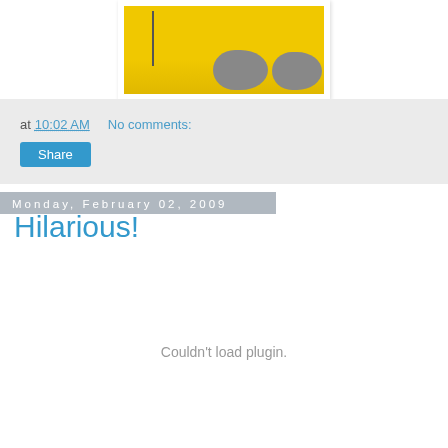[Figure (photo): Photo of knitted grey shoes on a yellow background with a needle, partially cropped at top]
at 10:02 AM   No comments:
Share
Monday, February 02, 2009
Hilarious!
Couldn't load plugin.